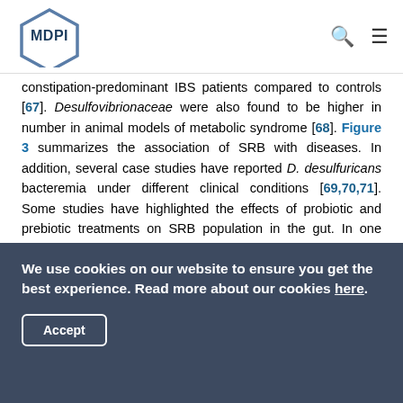MDPI
constipation-predominant IBS patients compared to controls [67]. Desulfovibrionaceae were also found to be higher in number in animal models of metabolic syndrome [68]. Figure 3 summarizes the association of SRB with diseases. In addition, several case studies have reported D. desulfuricans bacteremia under different clinical conditions [69,70,71]. Some studies have highlighted the effects of probiotic and prebiotic treatments on SRB population in the gut. In one report, 4 weeks of oral consumption of probiotic Lactobacillus plantarum P-8 Lp-8 treatment caused a significant reduction of Desulfovibrio genus in human volunteers [72]. In another study, mice fed with the prebiotic glycomacropeptide (GMP) showed a dramatic
We use cookies on our website to ensure you get the best experience. Read more about our cookies here.